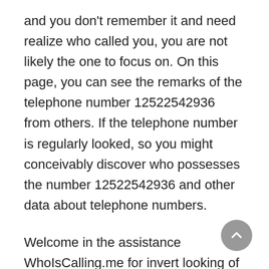and you don't remember it and need realize who called you, you are not likely the one to focus on. On this page, you can see the remarks of the telephone number 12522542936 from others. If the telephone number is regularly looked, so you might conceivably discover who possesses the number 12522542936 and other data about telephone numbers.
Welcome in the assistance WhoIsCalling.me for invert looking of telephone numbers. This is the client data set of telephone quantities of advertising offices, phone salespeople, banks, insurance agencies and different organizations, that complete spontaneous telephone offers, calls or just telephone numbers rings. If you got